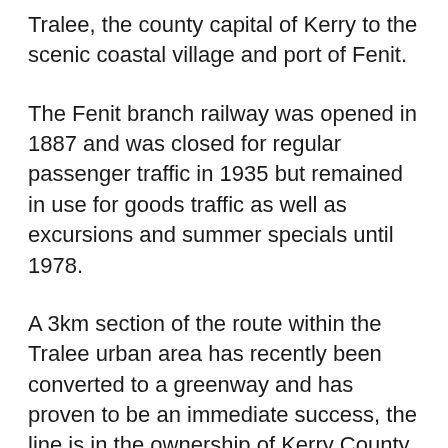Tralee, the county capital of Kerry to the scenic coastal village and port of Fenit.
The Fenit branch railway was opened in 1887 and was closed for regular passenger traffic in 1935 but remained in use for goods traffic as well as excursions and summer specials until 1978.
A 3km section of the route within the Tralee urban area has recently been converted to a greenway and has proven to be an immediate success, the line is in the ownership of Kerry County Council as is the North Kerry railway.
The completion of the remainder of the route would provide utility, tourist and recreational cyclists as well as pedestrians, runners and hikers with a dedicated off road